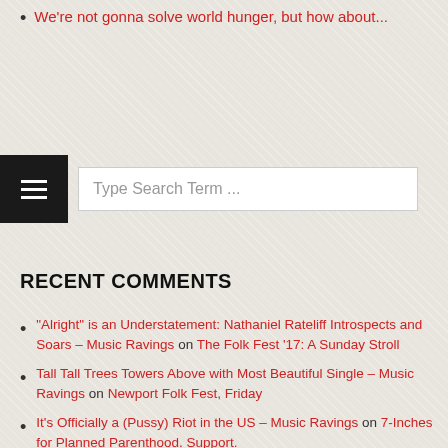We're not gonna solve world hunger, but how about...
[Figure (screenshot): Navigation menu bar with hamburger icon and search box reading 'Type Search Term ...']
RECENT COMMENTS
“Alright” is an Understatement: Nathaniel Rateliff Introspects and Soars – Music Ravings on The Folk Fest ’17: A Sunday Stroll
Tall Tall Trees Towers Above with Most Beautiful Single – Music Ravings on Newport Folk Fest, Friday
It’s Officially a (Pussy) Riot in the US – Music Ravings on 7-Inches for Planned Parenthood. Support.
“Alright” is an Understatement: Nathaniel Rateliff Introspects and Soars – Music Ravings on Nathaniel Rateliff Sweat It Out...